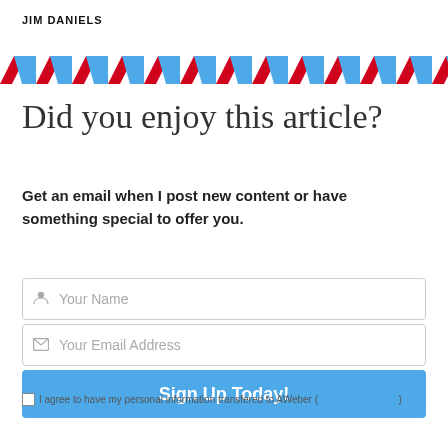JIM DANIELS
[Figure (illustration): Diagonal red and blue airmail-style stripe border bar]
Did you enjoy this article?
Get an email when I post new content or have something special to offer you.
Your Name (input field), Your Email Address (input field), Sign Up Today! (button)
I agree to have my personal information transfered to AWeber ( more information )